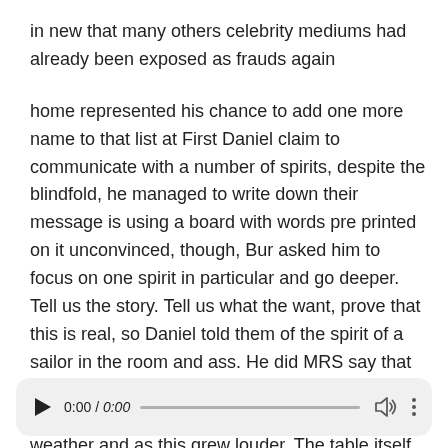in new that many others celebrity mediums had already been exposed as frauds again
home represented his chance to add one more name to that list at First Daniel claim to communicate with a number of spirits, despite the blindfold, he managed to write down their message is using a board with words pre printed on it unconvinced, though, Bur asked him to focus on one spirit in particular and go deeper. Tell us the story. Tell us what the want, prove that this is real, so Daniel told them of the spirit of a sailor in the room and ass. He did MRS say that the room filled with the sound of howling when it was as if they were on the high seas in stormy weather and as this grew louder. The table itself began to